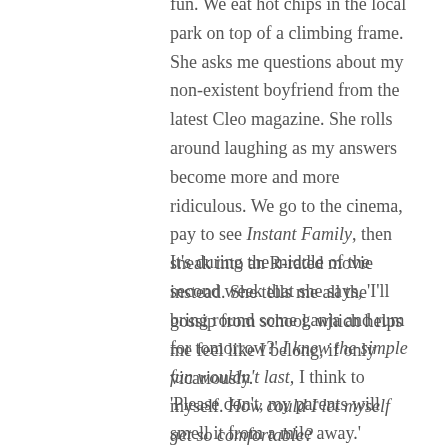fun. We eat hot chips in the local park on top of a climbing frame. She asks me questions about my non-existent boyfriend from the latest Cleo magazine. She rolls around laughing as my answers become more and more ridiculous. We go to the cinema, pay to see Instant Family, then sneak into an R-rated movie instead. She tells me all the gossip from school, which helps me feel like I belong, if only vicariously.
It's during the middle of the second week that she says, 'I'll bring round some ganja and rum for tomorrow?' I knew the simple fun wouldn't last, I think to myself. How could I let myself get so comfortable?
'Please don't, my parents will smell it from a mile away.'